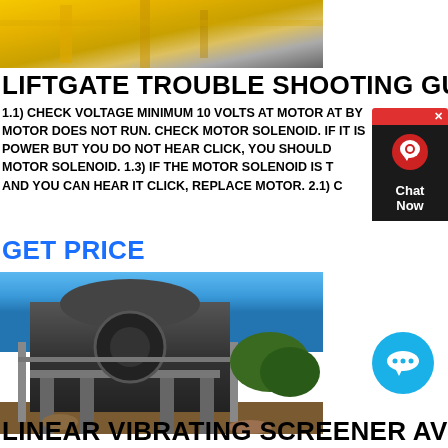[Figure (photo): Yellow industrial crane or gantry structure, top portion visible]
LIFTGATE TROUBLE SHOOTING GUI
1.1) CHECK VOLTAGE MINIMUM 10 VOLTS AT MOTOR AT BY MOTOR DOES NOT RUN. CHECK MOTOR SOLENOID. IF IT IS POWER BUT YOU DO NOT HEAR CLICK, YOU SHOULD M MOTOR SOLENOID. 1.3) IF THE MOTOR SOLENOID IS T AND YOU CAN HEAR IT CLICK, REPLACE MOTOR. 2.1) C
GET PRICE
[Figure (photo): Industrial vibrating screen or crusher equipment mounted on steel structure, blue sky background]
LINEAR VIBRATING SCREENER AVIT